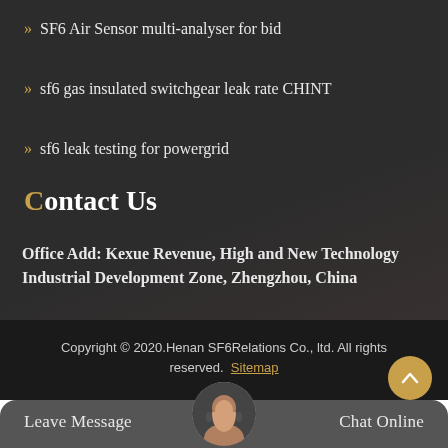SF6 Air Sensor multi-analyser for bid
sf6 gas insulated switchgear leak rate CHINT
sf6 leak testing for powergrid
Contact Us
Office Add: Kexue Revenue, High and New Technology Industrial Development Zone, Zhengzhou, China
Copyright © 2020.Henan SF6Relations Co., ltd. All rights reserved. Sitemap
Leave Message
Chat Online